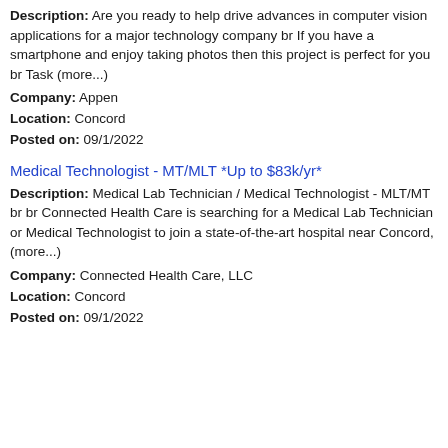Description: Are you ready to help drive advances in computer vision applications for a major technology company br If you have a smartphone and enjoy taking photos then this project is perfect for you br Task (more...)
Company: Appen
Location: Concord
Posted on: 09/1/2022
Medical Technologist - MT/MLT *Up to $83k/yr*
Description: Medical Lab Technician / Medical Technologist - MLT/MT br br Connected Health Care is searching for a Medical Lab Technician or Medical Technologist to join a state-of-the-art hospital near Concord, (more...)
Company: Connected Health Care, LLC
Location: Concord
Posted on: 09/1/2022